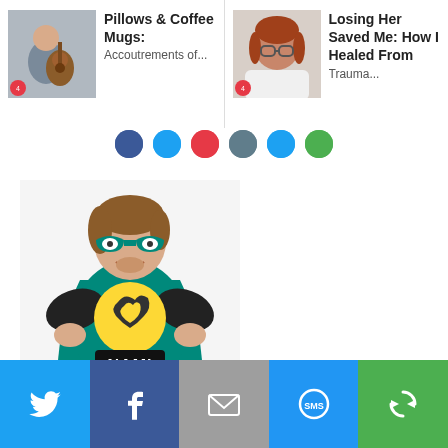[Figure (screenshot): Article card: thumbnail of man playing guitar, title 'Pillows & Coffee Mugs: Accoutrements of...']
[Figure (screenshot): Article card: thumbnail of woman with glasses, title 'Losing Her Saved Me: How I Healed From Trauma...']
[Figure (photo): Photo of a man dressed as a superhero in a teal/black costume labeled 'NAMI MAN' with a yellow logo and teal mask, posing with hands on hips against a white background. A red video play button is overlaid at the bottom center.]
[Figure (infographic): Bottom social share bar with five buttons: Twitter (light blue), Facebook (dark blue), Email/Mail (grey), SMS (blue), and a circular arrow/share icon (green).]